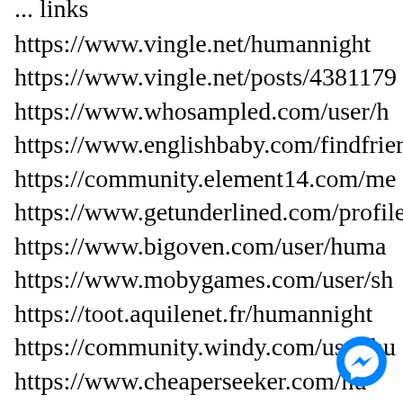... (partial heading)
https://www.vingle.net/humannight
https://www.vingle.net/posts/4381179
https://www.whosampled.com/user/h...
https://www.englishbaby.com/findfrien...
https://community.element14.com/me...
https://www.getunderlined.com/profile...
https://www.bigoven.com/user/human...
https://www.mobygames.com/user/sh...
https://toot.aquilenet.fr/humannight
https://community.windy.com/user/hu...
https://www.cheaperseeker.com/hu...
https://myapple.pl/users/392576